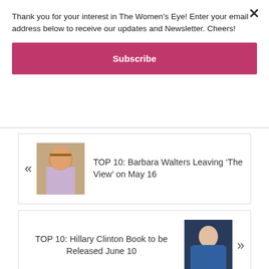Thank you for your interest in The Women's Eye! Enter your email address below to receive our updates and Newsletter. Cheers!
Subscribe
« TOP 10: Barbara Walters Leaving ‘The View’ on May 16
TOP 10: Hillary Clinton Book to be Released June 10 »